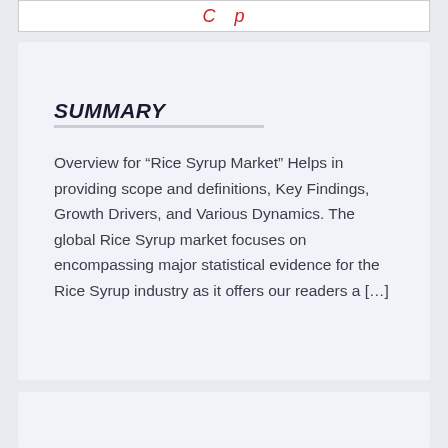[Figure (other): Partial red italic text on white card background at top of page]
SUMMARY
Overview for “Rice Syrup Market” Helps in providing scope and definitions, Key Findings, Growth Drivers, and Various Dynamics. The global Rice Syrup market focuses on encompassing major statistical evidence for the Rice Syrup industry as it offers our readers a […]